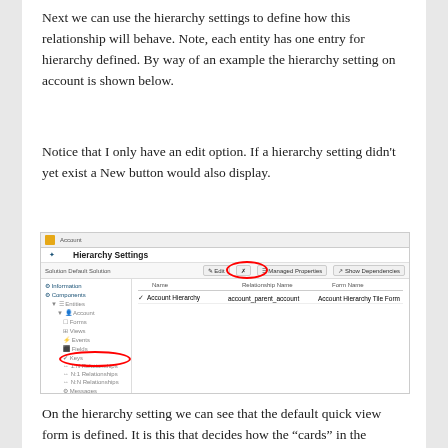Next we can use the hierarchy settings to define how this relationship will behave. Note, each entity has one entry for hierarchy defined. By way of an example the hierarchy setting on account is shown below.
Notice that I only have an edit option. If a hierarchy setting didn't yet exist a New button would also display.
[Figure (screenshot): Screenshot of a Hierarchy Settings configuration page in a CRM-like application, showing a left navigation tree with 'Hierarchy Settings' highlighted in red circle, and a main grid area showing columns for Name, Relationship Name, and Form Name with one row for Account Hierarchy. The Edit button area is circled in red at the top toolbar.]
On the hierarchy setting we can see that the default quick view form is defined. It is this that decides how the “cards” in the organisation view